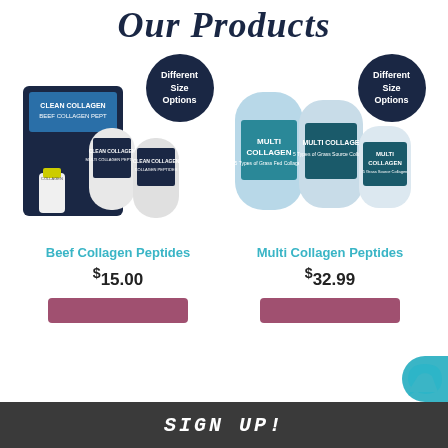Our Products
[Figure (photo): Beef collagen peptides product lineup: a large dark blue bag, capsule bottle, and two canisters. Badge says 'Different Size Options'.]
[Figure (photo): Multi collagen peptides product lineup: three light blue containers of varying sizes. Badge says 'Different Size Options'.]
Beef Collagen Peptides
Multi Collagen Peptides
$15.00
$32.99
SIGN UP!